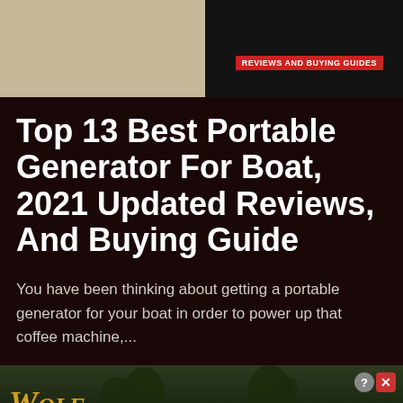[Figure (photo): Top image bar showing sandy terrain on the left and a dark vehicle/machine on the right with a red 'REVIEWS AND BUYING GUIDES' badge]
Top 13 Best Portable Generator For Boat, 2021 Updated Reviews, And Buying Guide
You have been thinking about getting a portable generator for your boat in order to power up that coffee machine,...
[Figure (screenshot): Wolf Game advertisement banner with wolves running in a meadow, gold 'Wolf Game' logo on the left, 'THE HUNT IS ON!' text on the right, close/question buttons top right]